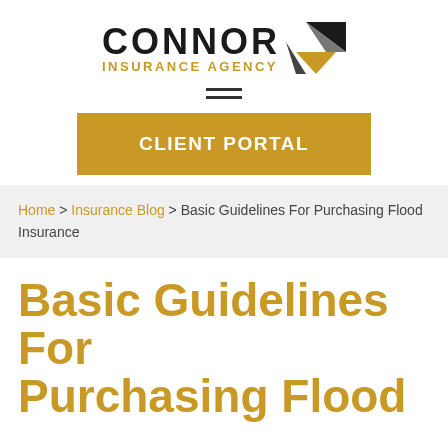[Figure (logo): Connor Insurance Agency logo with black CONNOR text, gold INSURANCE AGENCY text, and geometric diamond/arrow icon in black, gray, and gold]
[Figure (other): Hamburger menu icon with two horizontal lines]
[Figure (other): Gold CLIENT PORTAL button]
Home > Insurance Blog > Basic Guidelines For Purchasing Flood Insurance
Basic Guidelines For Purchasing Flood